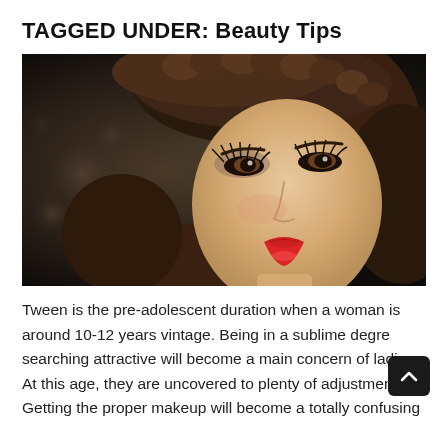TAGGED UNDER: Beauty Tips
[Figure (photo): Close-up portrait of a young woman wearing a dark fur hat with red lipstick and dramatic eye makeup, looking upward, against a dark bokeh background.]
Tween is the pre-adolescent duration when a woman is around 10-12 years vintage. Being in a sublime degree searching attractive will become a main concern of ladies. At this age, they are uncovered to plenty of adjustments. Getting the proper makeup will become a totally confusing